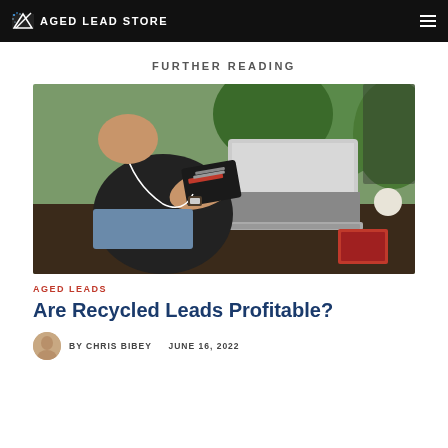AGED LEAD STORE
FURTHER READING
[Figure (photo): Person sitting at a table using a laptop while holding a wallet with earphones, with green plants in the background and a red passport nearby.]
AGED LEADS
Are Recycled Leads Profitable?
BY CHRIS BIBEY   JUNE 16, 2022